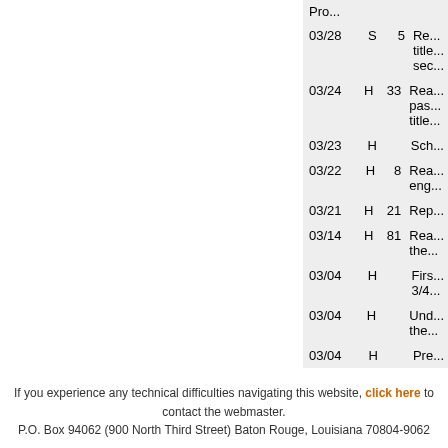| Date | Type | Num | Description |
| --- | --- | --- | --- |
|  |  |  | Pro... |
| 03/28 | S | 5 | Re... title... sec... |
| 03/24 | H | 33 | Rea... pas... title... |
| 03/23 | H |  | Sch... |
| 03/22 | H | 8 | Rea... eng... |
| 03/21 | H | 21 | Rep... |
| 03/14 | H | 81 | Rea... the... |
| 03/04 | H |  | Firs... 3/4... |
| 03/04 | H |  | Und... the... |
| 03/04 | H |  | Pre... |
If you experience any technical difficulties navigating this website, click here to contact the webmaster. P.O. Box 94062 (900 North Third Street) Baton Rouge, Louisiana 70804-9062